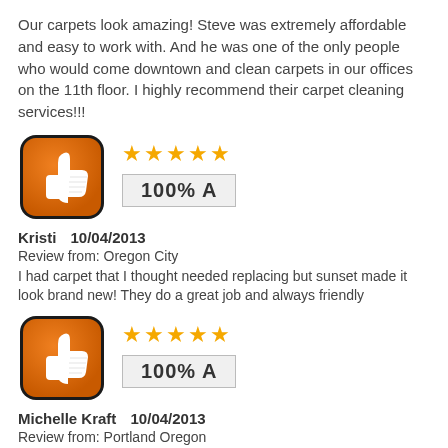Our carpets look amazing! Steve was extremely affordable and easy to work with. And he was one of the only people who would come downtown and clean carpets in our offices on the 11th floor. I highly recommend their carpet cleaning services!!!
[Figure (illustration): Orange rounded-square thumbs-up icon with white thumb silhouette and black border, with 5 gold stars and a grade box showing '100% A']
Kristi    10/04/2013
Review from: Oregon City
I had carpet that I thought needed replacing but sunset made it look brand new! They do a great job and always friendly
[Figure (illustration): Orange rounded-square thumbs-up icon with white thumb silhouette and black border, with 5 gold stars and a grade box showing '100% A']
Michelle Kraft    10/04/2013
Review from: Portland Oregon